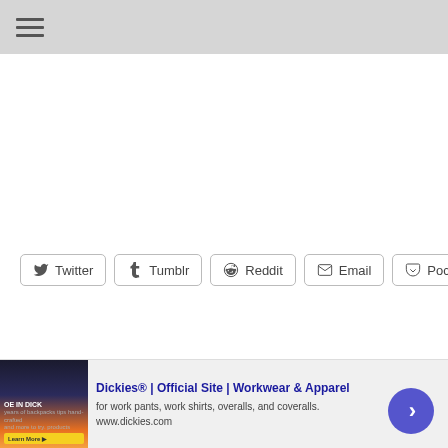Navigation menu
Twitter  Tumblr  Reddit  Email  Pocket
Written By
[Figure (screenshot): Advertisement: Dickies® | Official Site | Workwear & Apparel - for work pants, work shirts, overalls, and coveralls. www.dickies.com]